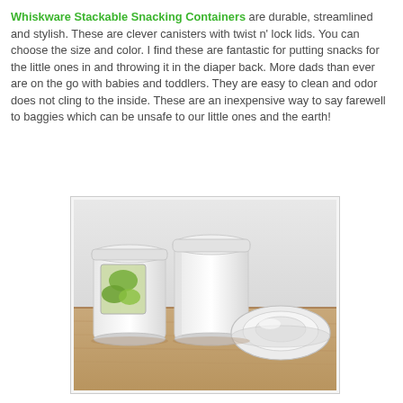Whiskware Stackable Snacking Containers are durable, streamlined and stylish. These are clever canisters with twist n' lock lids. You can choose the size and color. I find these are fantastic for putting snacks for the little ones in and throwing it in the diaper back. More dads than ever are on the go with babies and toddlers. They are easy to clean and odor does not cling to the inside. These are an inexpensive way to say farewell to baggies which can be unsafe to our little ones and the earth!
[Figure (photo): Three white stackable snacking containers on a wooden surface. Left container has a clear window showing green contents. Middle container is fully white/opaque. Right is a lid lying flat.]